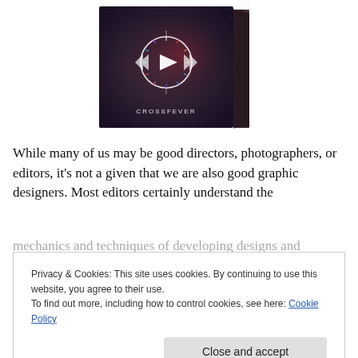[Figure (photo): A dark-themed book/album cover showing a media player dial/wheel with play button, skip buttons (double left and double right arrows), and the word CROSSFEVER at the bottom. The book is shown in a 3D perspective view.]
While many of us may be good directors, photographers, or editors, it's not a given that we are also good graphic designers. Most editors certainly understand the mechanics and techniques of developing designs and
Privacy & Cookies: This site uses cookies. By continuing to use this website, you agree to their use.
To find out more, including how to control cookies, see here: Cookie Policy
graphic designer.